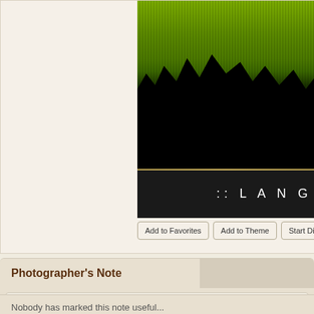[Figure (photo): Landscape photo showing green hills with tree silhouettes in black, taken from Langkisau Hill, Pesisir Selatan, West Sumatra. Below the photo is a dark bar with text ':: LANG' (truncated).]
:: LANG
Add to Favorites
Add to Theme
Start Discussion
Po...
Photographer's Note
at Langkisau Hill...Pesisir Selatan - West Sumatra..in Background is Hindia Oce...
Hope u like..
Nobody has marked this note useful...